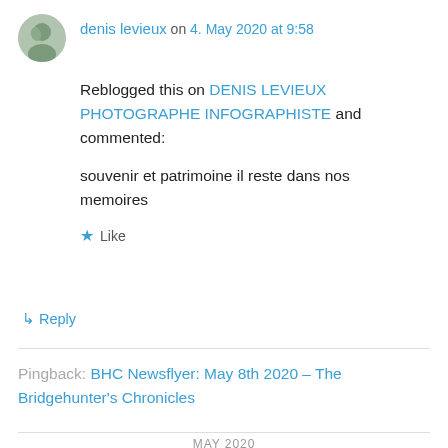denis levieux on 4. May 2020 at 9:58
Reblogged this on DENIS LEVIEUX PHOTOGRAPHE INFOGRAPHISTE and commented:
souvenir et patrimoine il reste dans nos memoires
★ Like
↳ Reply
Pingback: BHC Newsflyer: May 8th 2020 – The Bridgehunter's Chronicles
MAY 2020